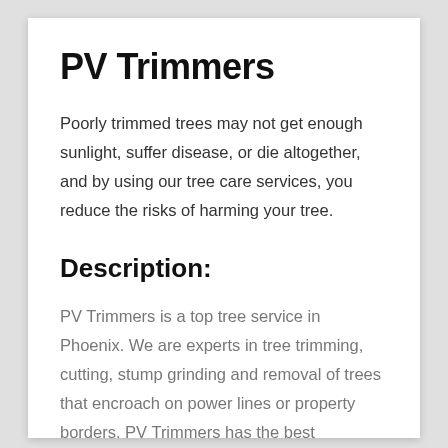PV Trimmers
Poorly trimmed trees may not get enough sunlight, suffer disease, or die altogether, and by using our tree care services, you reduce the risks of harming your tree.
Description:
PV Trimmers is a top tree service in Phoenix. We are experts in tree trimming, cutting, stump grinding and removal of trees that encroach on power lines or property borders. PV Trimmers has the best equipment and know-how to get the job done right! We offer preventative maintenance plans that will keep your trees safe and healthy for many years. Call us today